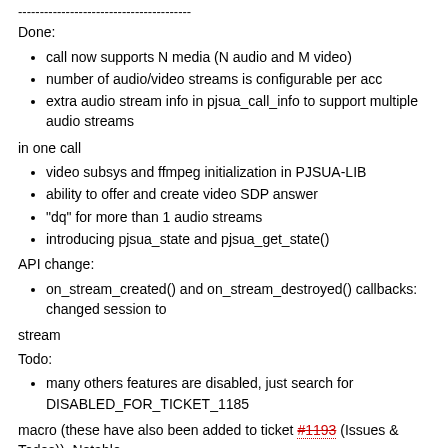----------------------------------------
Done:
call now supports N media (N audio and M video)
number of audio/video streams is configurable per acc
extra audio stream info in pjsua_call_info to support multiple audio streams
in one call
video subsys and ffmpeg initialization in PJSUA-LIB
ability to offer and create video SDP answer
"dq" for more than 1 audio streams
introducing pjsua_state and pjsua_get_state()
API change:
on_stream_created() and on_stream_destroyed() callbacks: changed session to
stream
Todo:
many others features are disabled, just search for DISABLED_FOR_TICKET_1185
macro (these have also been added to ticket #1193 (Issues & Todos)). Notable missing features are:
creation of duplicate SDP m= lines for optional SRTP